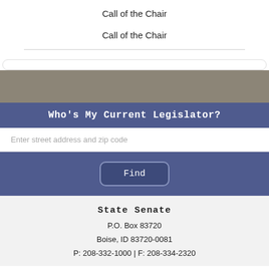Call of the Chair
Call of the Chair
Who's My Current Legislator?
Enter street address and zip code
Find
State Senate
P.O. Box 83720
Boise, ID 83720-0081
P: 208-332-1000 | F: 208-334-2320